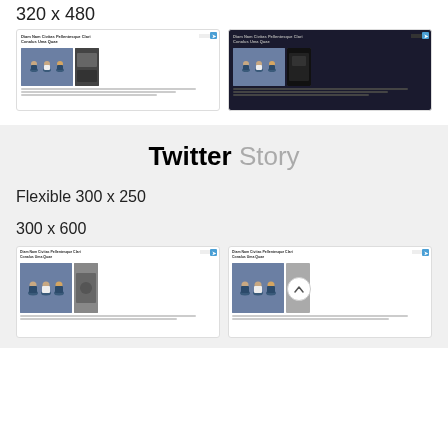320 x 480
[Figure (screenshot): Two side-by-side article preview thumbnails at 320x480 size, showing illustrated figures meditating and secondary images]
Twitter Story
Flexible
300 x 250
300 x 600
[Figure (screenshot): Two side-by-side article preview thumbnails at 300x600 size, showing illustrated figures meditating and secondary images, one with a circular chevron button]